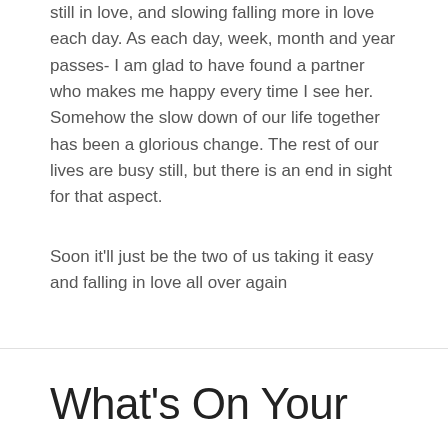still in love, and slowing falling more in love each day. As each day, week, month and year passes- I am glad to have found a partner who makes me happy every time I see her. Somehow the slow down of our life together has been a glorious change. The rest of our lives are busy still, but there is an end in sight for that aspect.
Soon it'll just be the two of us taking it easy and falling in love all over again
What's On Your